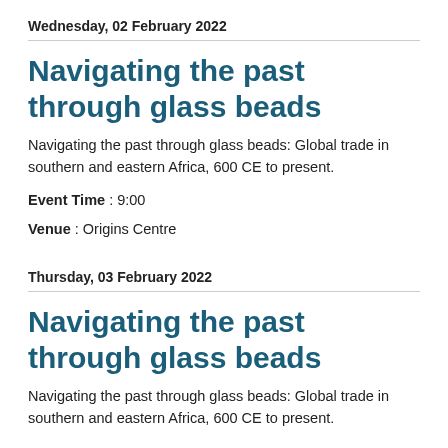Wednesday, 02 February 2022
Navigating the past through glass beads
Navigating the past through glass beads: Global trade in southern and eastern Africa, 600 CE to present.
Event Time : 9:00
Venue : Origins Centre
Thursday, 03 February 2022
Navigating the past through glass beads
Navigating the past through glass beads: Global trade in southern and eastern Africa, 600 CE to present.